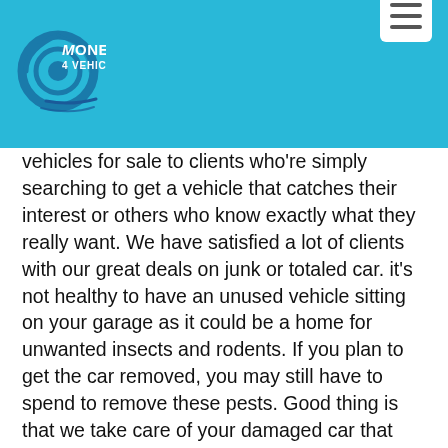[Figure (logo): Money 4 Vehicle logo with tire/wheel graphic on cyan/blue background header]
vehicles for sale to clients who're simply searching to get a vehicle that catches their interest or others who know exactly what they really want. We have satisfied a lot of clients with our great deals on junk or totaled car. it's not healthy to have an unused vehicle sitting on your garage as it could be a home for unwanted insects and rodents. If you plan to get the car removed, you may still have to spend to remove these pests. Good thing is that we take care of your damaged car that really must be pulled out and pay you in exchange.
Low-End Automobiles
In Hamilton Township (Mercer), you could definitely get you the car you want at a very low value as we have a wide selection of vehicles with different features coming